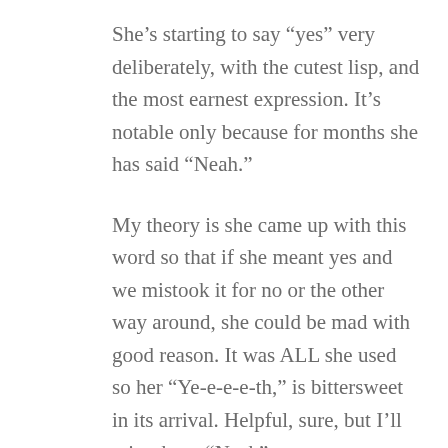She’s starting to say “yes” very deliberately, with the cutest lisp, and the most earnest expression. It’s notable only because for months she has said “Neah.”
My theory is she came up with this word so that if she meant yes and we mistook it for no or the other way around, she could be mad with good reason. It was ALL she used so her “Ye-e-e-e-th,” is bittersweet in its arrival. Helpful, sure, but I’ll miss those “Neah”s.
In the last week, her bedtime ritual has evolved to more than just her blankie, though that must be present, to be sure. She also requires a pillow (no case though), a stuffy or two (but